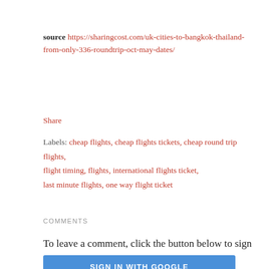source https://sharingcost.com/uk-cities-to-bangkok-thailand-from-only-336-roundtrip-oct-may-dates/
Share
Labels: cheap flights, cheap flights tickets, cheap round trip flights, flight timing, flights, international flights ticket, last minute flights, one way flight ticket
COMMENTS
To leave a comment, click the button below to sign in with Google.
SIGN IN WITH GOOGLE